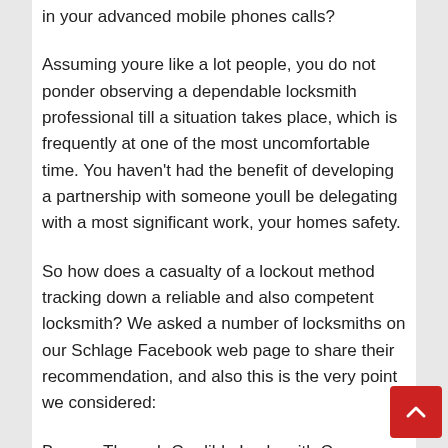in your advanced mobile phones calls?
Assuming youre like a lot people, you do not ponder observing a dependable locksmith professional till a situation takes place, which is frequently at one of the most uncomfortable time. You haven't had the benefit of developing a partnership with someone youll be delegating with a most significant work, your homes safety.
So how does a casualty of a lockout method tracking down a reliable and also competent locksmith? We asked a number of locksmiths on our Schlage Facebook web page to share their recommendation, and also this is the very point we considered:
Browse Through Credible Locksmith Company